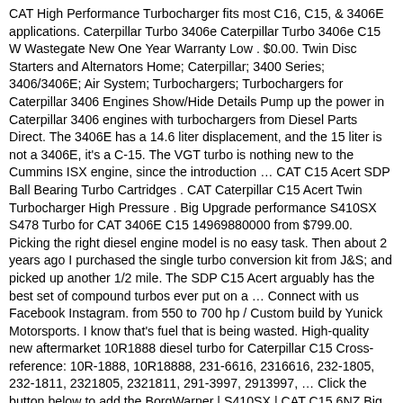CAT High Performance Turbocharger fits most C16, C15, & 3406E applications. Caterpillar Turbo 3406e Caterpillar Turbo 3406e C15 W Wastegate New One Year Warranty Low . $0.00. Twin Disc Starters and Alternators Home; Caterpillar; 3400 Series; 3406/3406E; Air System; Turbochargers; Turbochargers for Caterpillar 3406 Engines Show/Hide Details Pump up the power in Caterpillar 3406 engines with turbochargers from Diesel Parts Direct. The 3406E has a 14.6 liter displacement, and the 15 liter is not a 3406E, it's a C-15. The VGT turbo is nothing new to the Cummins ISX engine, since the introduction … CAT C15 Acert SDP Ball Bearing Turbo Cartridges . CAT Caterpillar C15 Acert Twin Turbocharger High Pressure . Big Upgrade performance S410SX S478 Turbo for CAT 3406E C15 14969880000 from $799.00. Picking the right diesel engine model is no easy task. Then about 2 years ago I purchased the single turbo conversion kit from J&S; and picked up another 1/2 mile. The SDP C15 Acert arguably has the best set of compound turbos ever put on a … Connect with us Facebook Instagram. from 550 to 700 hp / Custom build by Yunick Motorsports. I know that's fuel that is being wasted. High-quality new aftermarket 10R1888 diesel turbo for Caterpillar C15 Cross-reference: 10R-1888, 10R18888, 231-6616, 2316616, 232-1805, 232-1811, 2321805, 2321811, 291-3997, 2913997, … Click the button below to add the BorgWarner | S410SX | CAT C15 6NZ Big Bore Turbo - 80MM / 1.58 Non Gated to your wish … The 6NZ was the first of the mighty CAT's to be rated at 600hp from the factory (even though it was still only 14.6L like the rest of the 3406 … Following the launch of the C32B 2025 MHP engine, Caterpillar Marine has announced the release of the new Cat C32B Triple Turbo 2433 MHP (2400BHP) high-performance marine engine, with a starting price of from $0.00. 00 cat turbo. Premium ...